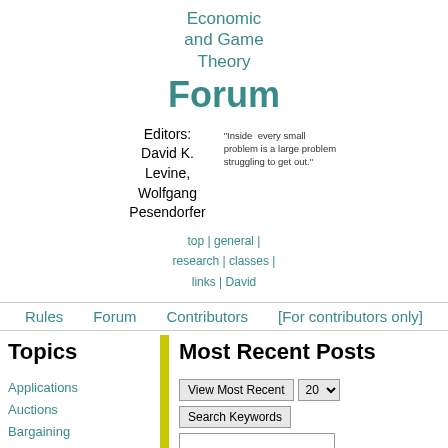Economic and Game Theory Forum
Editors: David K. Levine, Wolfgang Pesendorfer
"Inside every small problem is a large problem struggling to get out."
top | general | research | classes | links | David
Rules   Forum   Contributors   [For contributors only]
Topics
Most Recent Posts
Applications
Auctions
Bargaining